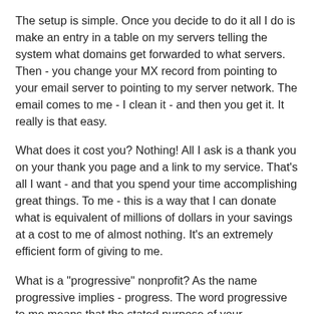The setup is simple. Once you decide to do it all I do is make an entry in a table on my servers telling the system what domains get forwarded to what servers. Then - you change your MX record from pointing to your email server to pointing to my server network. The email comes to me - I clean it - and then you get it. It really is that easy.
What does it cost you? Nothing! All I ask is a thank you on your thank you page and a link to my service. That's all I want - and that you spend your time accomplishing great things. To me - this is a way that I can donate what is equivalent of millions of dollars in your savings at a cost to me of almost nothing. It's an extremely efficient form of giving to me.
What is a "progressive" nonprofit? As the name progressive implies - progress. The word progressive to me means that the stated purpose of your organization is something that advances the good of humanity in the real world. And although this is a fuzzy line some example of what I consider progressive would be organizations that feed hungry children, provide medical assistance, legal aid, human rights, peace, freedom, and things like that.